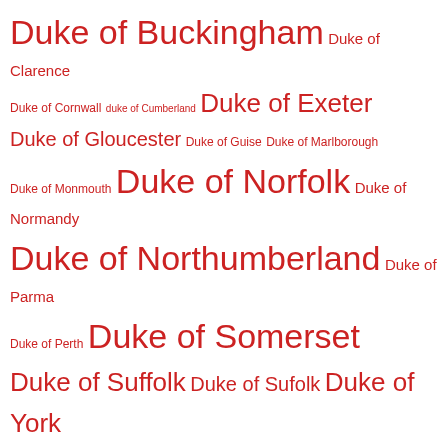Duke of Buckingham Duke of Clarence Duke of Cornwall duke of Cumberland Duke of Exeter Duke of Gloucester Duke of Guise Duke of Marlborough Duke of Monmouth Duke of Norfolk Duke of Normandy Duke of Northumberland Duke of Parma Duke of Perth Duke of Somerset Duke of Suffolk Duke of Sufolk Duke of York Duke Robert of Normandy dukes of Devonshire Duke William of Normandy Dumfries Dumnonia Dunfermline Abbey Dunstable Dunstable Priory Dunstanburgh Castle Dunster Castle Dupplin Moor Durham Durham Abbey Durham Cathedral Durham Consistory Court Durham Trained Bands dysentery Eadburgh Eadmer Eadric Eadric Streona eagles Ealdred of York Earl Alfgar Earl Brithnoth earldom of Richmond Earl Godwin Earl Godwin of Wessex Earl Harold of Wessex earl of Albany earl of Angus Earl of Arran Earl of Arundel Earl of Bothwell Earl of Carlisle earl of Chester